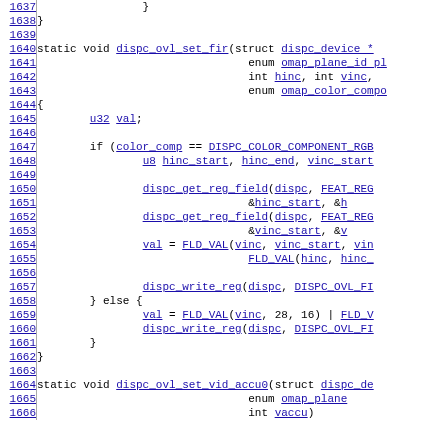Source code listing, lines 1637-1666, showing C functions dispc_ovl_set_fir and dispc_ovl_set_vid_accu0